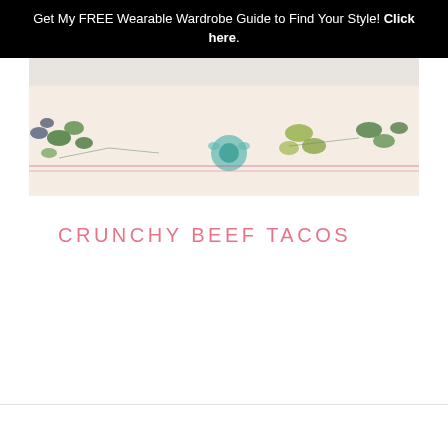Get My FREE Wearable Wardrobe Guide to Find Your Style! Click here.
[Figure (photo): Close-up photo of floral patterned fabric with green botanical prints, teal flowers, and pink/red dashed decorative border on a white background.]
CRUNCHY BEEF TACOS